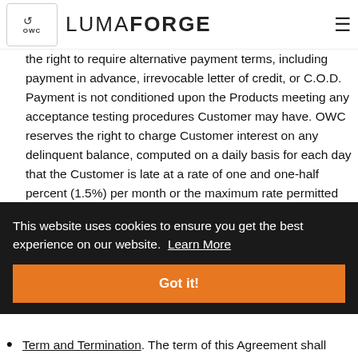OWC LUMAFORGE
the right to require alternative payment terms, including payment in advance, irrevocable letter of credit, or C.O.D. Payment is not conditioned upon the Products meeting any acceptance testing procedures Customer may have. OWC reserves the right to charge Customer interest on any delinquent balance, computed on a daily basis for each day that the Customer is late at a rate of one and one-half percent (1.5%) per month or the maximum rate permitted by law.
This website uses cookies to ensure you get the best experience on our website. Learn More
Got it!
Term and Termination. The term of this Agreement shall